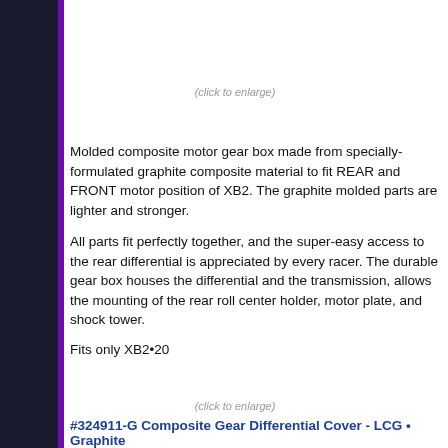(click to enlarge)
Molded composite motor gear box made from specially-formulated graphite composite material to fit REAR and FRONT motor position of XB2. The graphite molded parts are lighter and stronger.
All parts fit perfectly together, and the super-easy access to the rear differential is appreciated by every racer. The durable gear box houses the differential and the transmission, allows the mounting of the rear roll center holder, motor plate, and shock tower.
Fits only XB2•20
(click to enlarge)
#324911-G Composite Gear Differential Cover - LCG • Graphite
#324954-G Composite Gear Diff. Case with Pulley 53T - LCG - Graphite